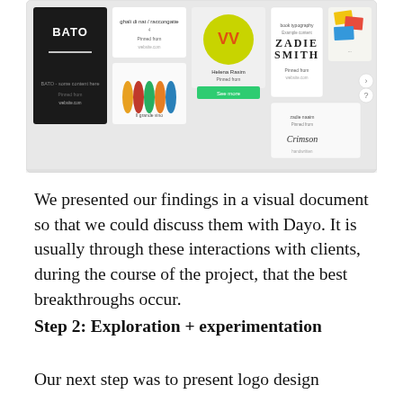[Figure (screenshot): A screenshot of a visual moodboard or Pinterest-style grid showing various book/album covers and design inspirations including 'BATO', colorful bottles, 'Zadie Smith' text logo, and other typographic designs.]
We presented our findings in a visual document so that we could discuss them with Dayo. It is usually through these interactions with clients, during the course of the project, that the best breakthroughs occur.
Step 2: Exploration + experimentation
Our next step was to present logo design